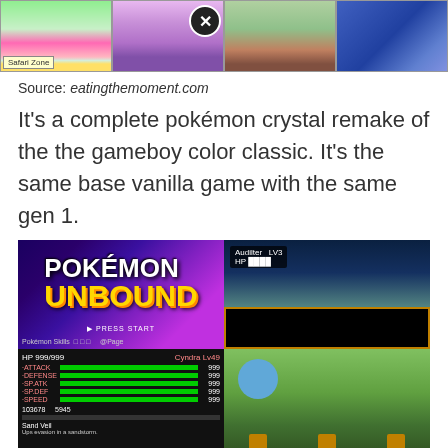[Figure (screenshot): Top strip of four Pokemon game screenshots with a close button overlay on the second image]
Source: eatingthemoment.com
It's a complete pokémon crystal remake of the the gameboy color classic. It's the same base vanilla game with the same gen 1.
[Figure (screenshot): Four-panel Pokemon Unbound game screenshots showing title screen, battle scene, Pokemon skills stats, and town/outdoor scene]
Source: bang.seariderdivecenter.com
Pokemon perfect crystal (2020 update) is